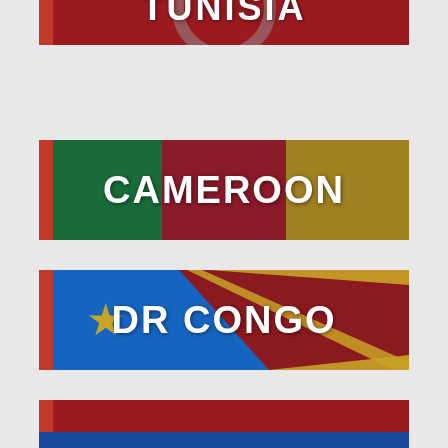[Figure (illustration): Partial country card for Tunisia with dark red background and circular emblem, cut off at top]
[Figure (illustration): Country card for Cameroon showing flag colors (green, red, gold) with white bold text CAMEROON and red left bar]
[Figure (illustration): Country card for DR Congo showing blue flag with diagonal red/gold stripe and star, white bold text DR CONGO and red left bar]
[Figure (illustration): Country card for Indonesia showing red and gray horizontal halves with white bold text INDONESIA and red left bar]
[Figure (illustration): Partial country card visible at bottom, blue background]